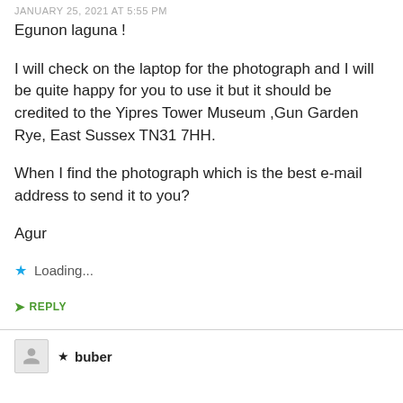JANUARY 25, 2021 AT 5:55 PM
Egunon laguna !
I will check on the laptop for the photograph and I will be quite happy for you to use it but it should be credited to the Yipres Tower Museum ,Gun Garden Rye, East Sussex TN31 7HH.
When I find the photograph which is the best e-mail address to send it to you?
Agur
Loading...
REPLY
buber